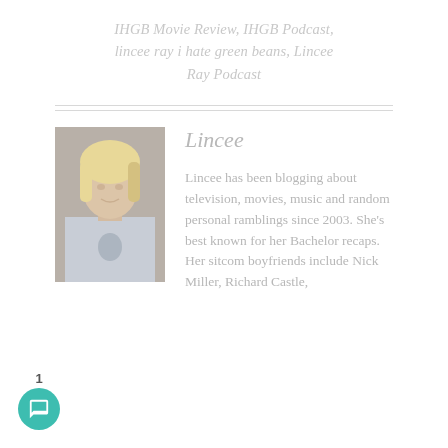IHGB Movie Review, IHGB Podcast, lincee ray i hate green beans, Lincee Ray Podcast
[Figure (photo): Portrait photo of a smiling blonde woman wearing a light blue t-shirt with a Texas logo, seated indoors]
Lincee
Lincee has been blogging about television, movies, music and random personal ramblings since 2003. She's best known for her Bachelor recaps. Her sitcom boyfriends include Nick Miller, Richard Castle,